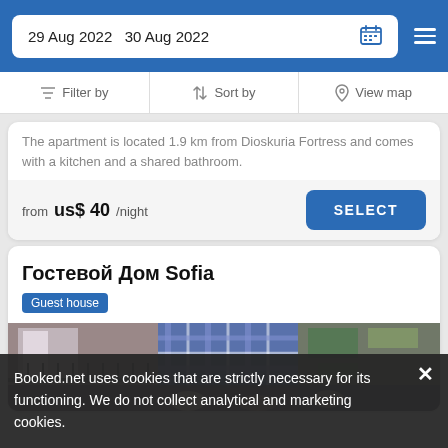29 Aug 2022  30 Aug 2022
Filter by  Sort by  View map
The apartment is located 1.9 km from Dioskuria Fortress and comes with a kitchen and a shared bathroom.
from  us$ 40/night  SELECT
Гостевой Дом Sofia
Guest house
[Figure (photo): Exterior photo of Гостевой Дом Sofia guest house showing a building facade with balcony railings, blue and white plaid fabric, and people in the lower portion]
Booked.net uses cookies that are strictly necessary for its functioning. We do not collect analytical and marketing cookies.